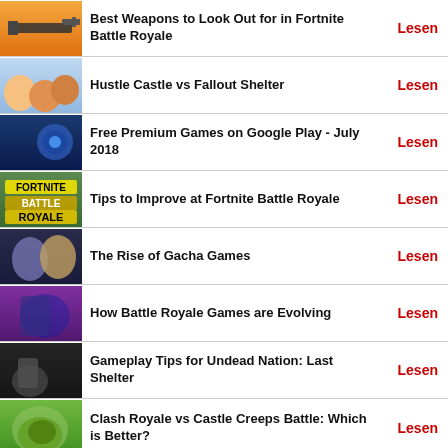Best Weapons to Look Out for in Fortnite Battle Royale | Lesen
Hustle Castle vs Fallout Shelter | Lesen
Free Premium Games on Google Play - July 2018 | Lesen
Tips to Improve at Fortnite Battle Royale | Lesen
The Rise of Gacha Games | Lesen
How Battle Royale Games are Evolving | Lesen
Gameplay Tips for Undead Nation: Last Shelter | Lesen
Clash Royale vs Castle Creeps Battle: Which is Better? | Lesen